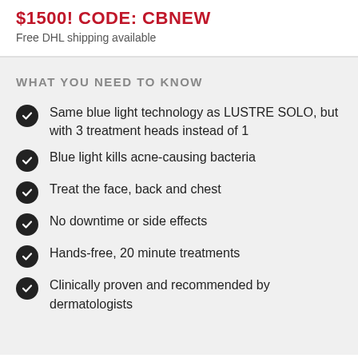$1500! CODE: CBNEW
Free DHL shipping available
WHAT YOU NEED TO KNOW
Same blue light technology as LUSTRE SOLO, but with 3 treatment heads instead of 1
Blue light kills acne-causing bacteria
Treat the face, back and chest
No downtime or side effects
Hands-free, 20 minute treatments
Clinically proven and recommended by dermatologists